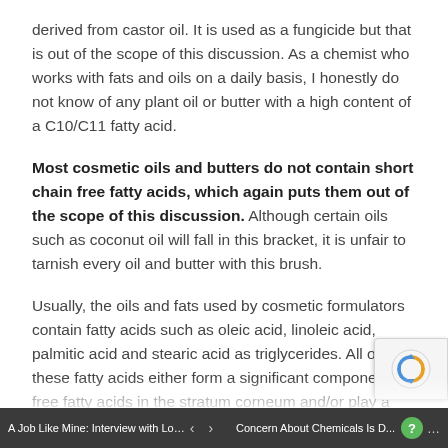derived from castor oil. It is used as a fungicide but that is out of the scope of this discussion. As a chemist who works with fats and oils on a daily basis, I honestly do not know of any plant oil or butter with a high content of a C10/C11 fatty acid.
Most cosmetic oils and butters do not contain short chain free fatty acids, which again puts them out of the scope of this discussion. Although certain oils such as coconut oil will fall in this bracket, it is unfair to tarnish every oil and butter with this brush.
Usually, the oils and fats used by cosmetic formulators contain fatty acids such as oleic acid, linoleic acid, palmitic acid and stearic acid as triglycerides. All of these fatty acids either form a significant component of free fatty acids in the stratum corneum and/or play a significa...
A Job Like Mine: Interview with Lorr... | < > | Concern About Chemicals Is D... | ?